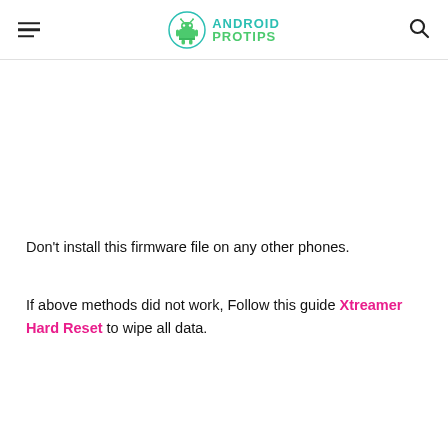ANDROID PROTIPS
Don't install this firmware file on any other phones.
If above methods did not work, Follow this guide Xtreamer Hard Reset to wipe all data.